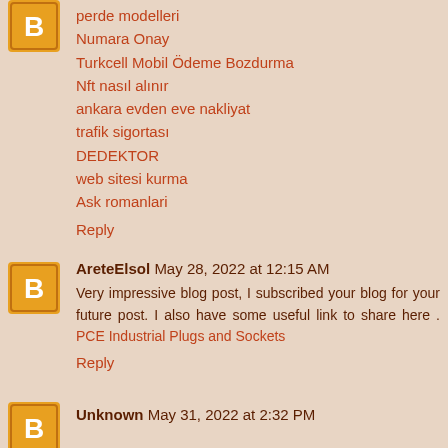perde modelleri
Numara Onay
Turkcell Mobil Ödeme Bozdurma
Nft nasıl alınır
ankara evden eve nakliyat
trafik sigortası
DEDEKTOR
web sitesi kurma
Ask romanlari
Reply
AreteElsol May 28, 2022 at 12:15 AM
Very impressive blog post, I subscribed your blog for your future post. I also have some useful link to share here . PCE Industrial Plugs and Sockets
Reply
Unknown May 31, 2022 at 2:32 PM